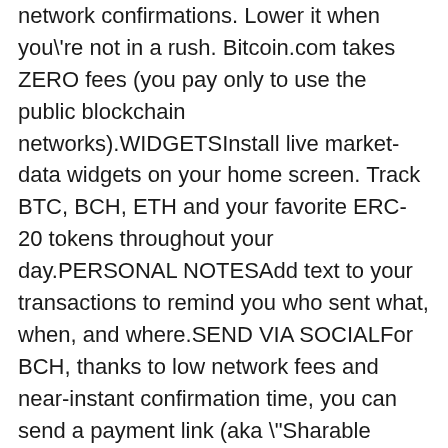network confirmations. Lower it when you're not in a rush. Bitcoin.com takes ZERO fees (you pay only to use the public blockchain networks).WIDGETSInstall live market-data widgets on your home screen. Track BTC, BCH, ETH and your favorite ERC-20 tokens throughout your day.PERSONAL NOTESAdd text to your transactions to remind you who sent what, when, and where.SEND VIA SOCIALFor BCH, thanks to low network fees and near-instant confirmation time, you can send a payment link (aka "Sharable Link") to anyone using any channel (eg. Messenger, SMS, email, Whatsapp, and so on.). Funds are received/claimed instantly with just one click.INSTANTPAYSet your spending threshold, then scan a QR code with the request amount set on the recipient's device. Your payment will complete in an instant (BCH only).DISCOVERUse the Discover section in the app to locate merchants near you who accept cryptocurrency payments in-store. Browse websites where you can checkout with crypto